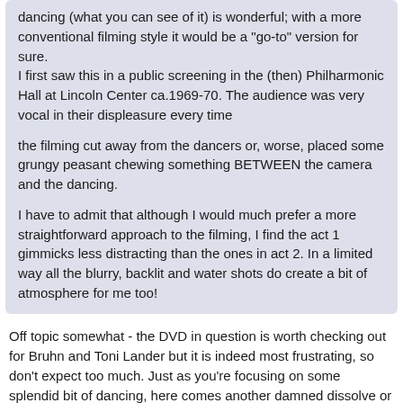dancing (what you can see of it) is wonderful; with a more conventional filming style it would be a "go-to" version for sure.
I first saw this in a public screening in the (then) Philharmonic Hall at Lincoln Center ca.1969-70. The audience was very vocal in their displeasure every time

the filming cut away from the dancers or, worse, placed some grungy peasant chewing something BETWEEN the camera and the dancing.

I have to admit that although I would much prefer a more straightforward approach to the filming, I find the act 1 gimmicks less distracting than the ones in act 2. In a limited way all the blurry, backlit and water shots do create a bit of atmosphere for me too!
Off topic somewhat - the DVD in question is worth checking out for Bruhn and Toni Lander but it is indeed most frustrating, so don't expect too much. Just as you're focusing on some splendid bit of dancing, here comes another damned dissolve or cut.